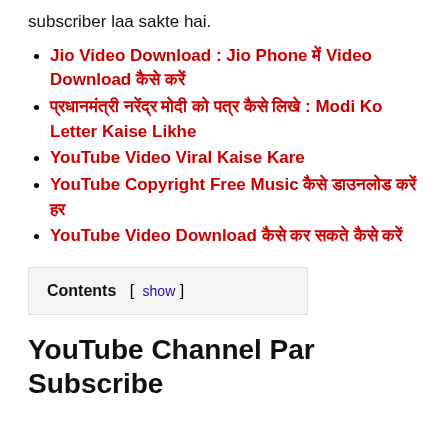subscriber laa sakte hai.
Jio Video Download : Jio Phone में Video Download कैसे करें
प्रधानमंत्री नरेंद्र मोदी को पत्र कैसे लिखे : Modi Ko Letter Kaise Likhe
YouTube Video Viral Kaise Kare
YouTube Copyright Free Music कैसे डाउनलोड करें हर
YouTube Video Download कैसे कर सकते कैसे करें
Contents [ show ]
YouTube Channel Par Subscribe